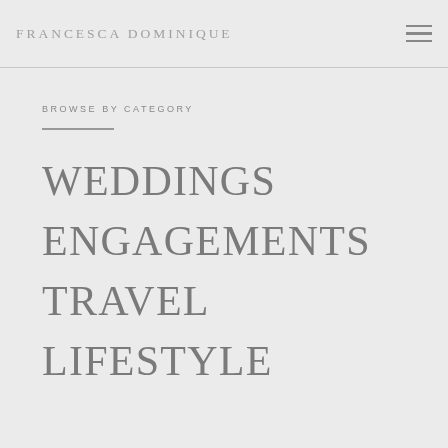FRANCESCA DOMINIQUE
BROWSE BY CATEGORY
WEDDINGS
ENGAGEMENTS
TRAVEL
LIFESTYLE